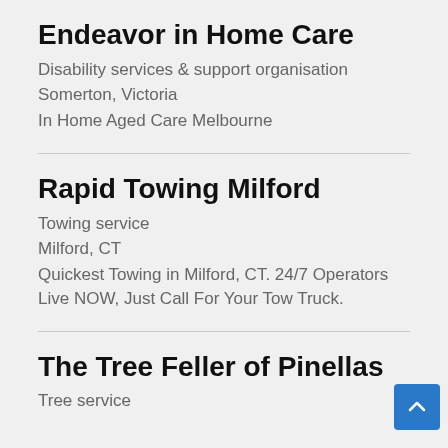Endeavor in Home Care
Disability services & support organisation
Somerton, Victoria
In Home Aged Care Melbourne
Rapid Towing Milford
Towing service
Milford, CT
Quickest Towing in Milford, CT. 24/7 Operators Live NOW, Just Call For Your Tow Truck.
The Tree Feller of Pinellas
Tree service